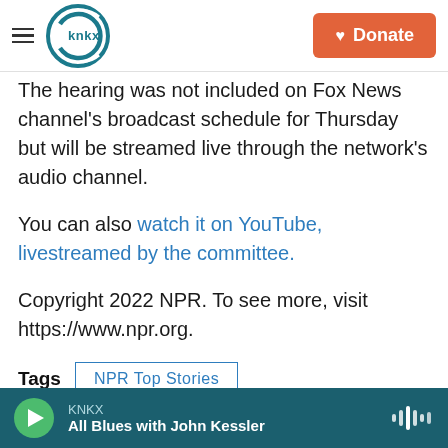KNKX | Donate
The hearing was not included on Fox News channel's broadcast schedule for Thursday but will be streamed live through the network's audio channel.
You can also watch it on YouTube, livestreamed by the committee.
Copyright 2022 NPR. To see more, visit https://www.npr.org.
Tags   NPR Top Stories
KNKX — All Blues with John Kessler